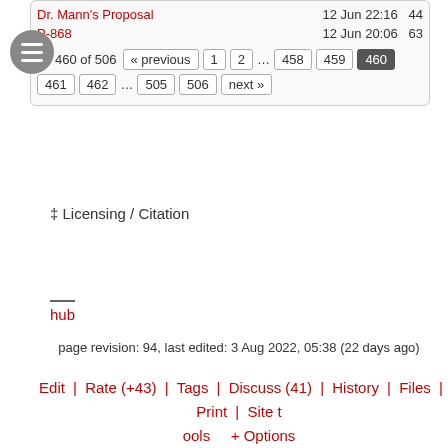[Figure (screenshot): Top portion of a wiki-style page showing list items with red links, dates, and a pagination bar. Includes a circular menu icon on the left.]
‡ Licensing / Citation
hub
page revision: 94, last edited: 3 Aug 2022, 05:38 (22 days ago)
Edit | Rate (+43) | Tags | Discuss (41) | History | Files | Print | Site tools | + Options